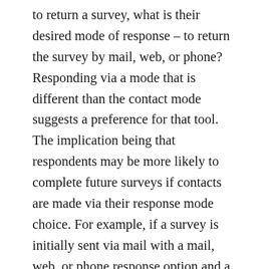to return a survey, what is their desired mode of response – to return the survey by mail, web, or phone? Responding via a mode that is different than the contact mode suggests a preference for that tool. The implication being that respondents may be more likely to complete future surveys if contacts are made via their response mode choice. For example, if a survey is initially sent via mail with a mail, web, or phone response option and a respondent chooses to complete the survey via web, perhaps he or she is more likely to complete a follow up survey administered online and sent to his or her e-mail address as opposed to a second mail survey. This is of particular interest if